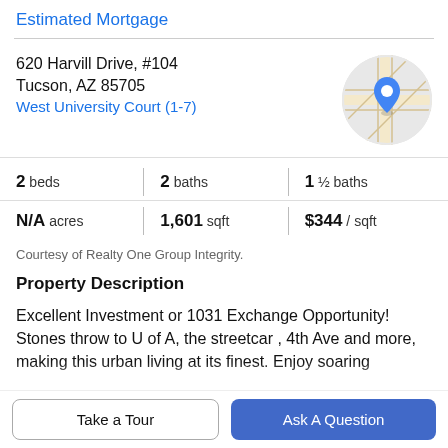Estimated Mortgage
620 Harvill Drive, #104
Tucson, AZ 85705
West University Court (1-7)
[Figure (map): Circular map thumbnail showing street map with a blue location pin marker]
2 beds | 2 baths | 1 ½ baths
N/A acres | 1,601 sqft | $344 / sqft
Courtesy of Realty One Group Integrity.
Property Description
Excellent Investment or 1031 Exchange Opportunity! Stones throw to U of A, the streetcar , 4th Ave and more, making this urban living at its finest. Enjoy soaring
Take a Tour
Ask A Question